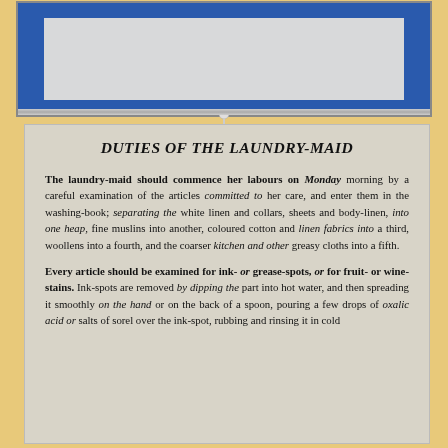[Figure (photo): Photo of a framed display board with a blue frame, a grey card pinned to it, and a metal bar at the bottom, mounted on a tan/yellow background.]
DUTIES OF THE LAUNDRY-MAID
The laundry-maid should commence her labours on Monday morning by a careful examination of the articles committed to her care, and enter them in the washing-book; separating the white linen and collars, sheets and body-linen, into one heap, fine muslins into another, coloured cotton and linen fabrics into a third, woollens into a fourth, and the coarser kitchen and other greasy cloths into a fifth.
Every article should be examined for ink- or grease-spots, or for fruit- or wine-stains. Ink-spots are removed by dipping the part into hot water, and then spreading it smoothly on the hand or on the back of a spoon, pouring a few drops of oxalic acid or salts of sorel over the ink-spot, rubbing and rinsing it in cold